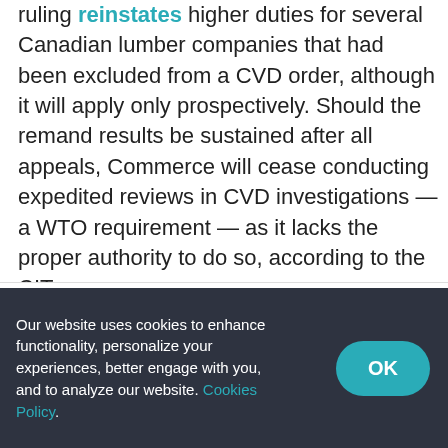ruling reinstates higher duties for several Canadian lumber companies that had been excluded from a CVD order, although it will apply only prospectively. Should the remand results be sustained after all appeals, Commerce will cease conducting expedited reviews in CVD investigations — a WTO requirement — as it lacks the proper authority to do so, according to the CIT.
[Figure (photo): Photo of sugar cubes and a bowl of white granulated sugar on a light surface]
Our website uses cookies to enhance functionality, personalize your experiences, better engage with you, and to analyze our website. Cookies Policy.